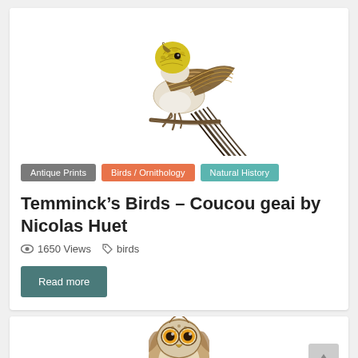[Figure (illustration): Antique illustration of a bird (Coucou geai / jay cuckoo) perched, with yellow head, brown and white patterned wings and long tail, by Nicolas Huet]
Antique Prints
Birds / Ornithology
Natural History
Temminck’s Birds – Coucou geai by Nicolas Huet
1650 Views   birds
Read more
[Figure (illustration): Antique illustration of a small owl (Saw-whet owl or similar) facing forward with large round yellow eyes and brown/white feathers]